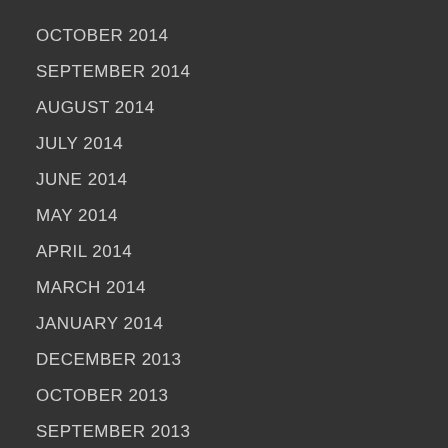OCTOBER 2014
SEPTEMBER 2014
AUGUST 2014
JULY 2014
JUNE 2014
MAY 2014
APRIL 2014
MARCH 2014
JANUARY 2014
DECEMBER 2013
OCTOBER 2013
SEPTEMBER 2013
AUGUST 2013
JULY 2013